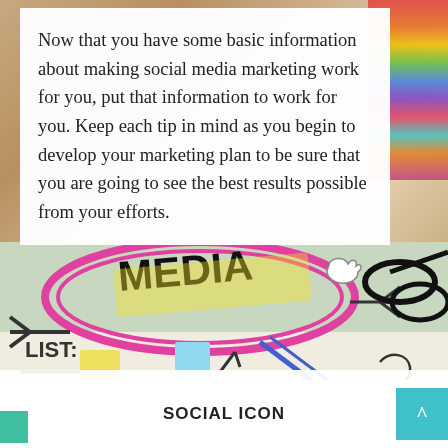Now that you have some basic information about making social media marketing work for you, put that information to work for you. Keep each tip in mind as you begin to develop your marketing plan to be sure that you are going to see the best results possible from your efforts.
[Figure (photo): Colorful doodle/illustration image showing MEDIA text in a speech bubble with social media icons, arrows, and notebook sketches]
Search and hit enter...
SOCIAL ICON